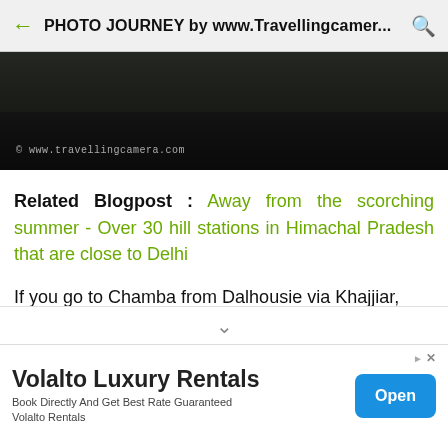PHOTO JOURNEY by www.Travellingcamer...
[Figure (photo): Dark landscape photo with watermark text '© www.travellingcamera.com']
Related Blogpost : Away from the scorching summer - Over 30 hill stations in Himachal Pradesh that are close to Delhi
If you go to Chamba from Dalhousie via Khajjiar, ace comes on the way which has clear way to
Volalto Luxury Rentals
Book Directly And Get Best Rate Guaranteed
Volalto Rentals